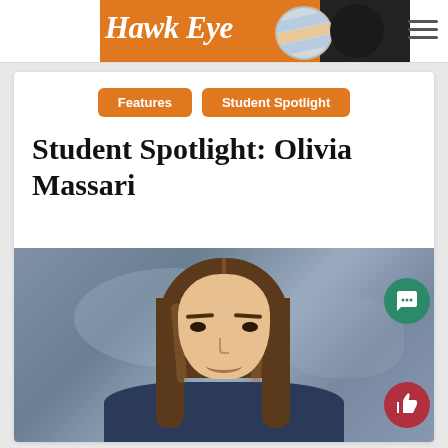Hawk Eye
Features   Student Spotlight
Student Spotlight: Olivia Massari
[Figure (photo): School portrait photo of a young woman with long brown hair, smiling, against a blue-grey background]